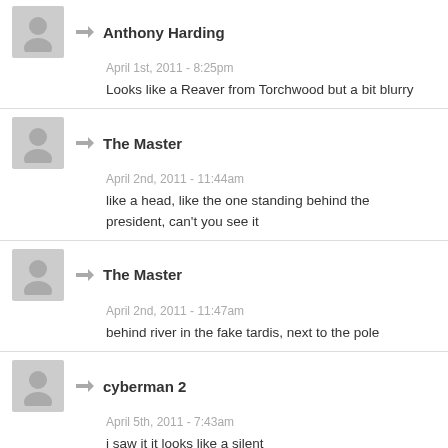Anthony Harding
April 1st, 2011 - 8:25pm
Looks like a Reaver from Torchwood but a bit blurry
The Master
April 2nd, 2011 - 11:44am
like a head, like the one standing behind the president, can't you see it
The Master
April 2nd, 2011 - 11:47am
behind river in the fake tardis, next to the pole
cyberman 2
April 5th, 2011 - 7:43am
i saw it it looks like a silent
« Older comments
Leave a Reply to doctor stu Cancel reply